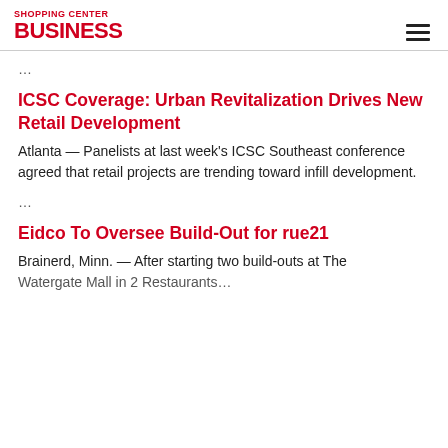SHOPPING CENTER BUSINESS
…
ICSC Coverage: Urban Revitalization Drives New Retail Development
Atlanta — Panelists at last week's ICSC Southeast conference agreed that retail projects are trending toward infill development.
…
Eidco To Oversee Build-Out for rue21
Brainerd, Minn. — After starting two build-outs at The Watergate Mall in 2 Restaurants, Brainerd, the region and…